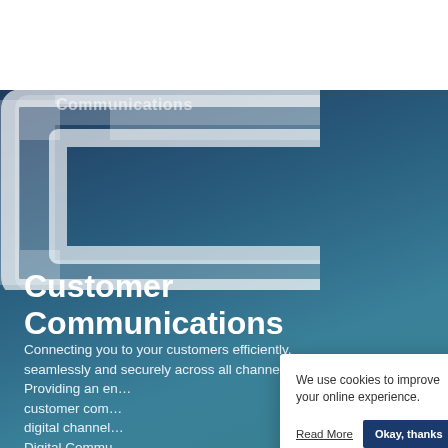[Figure (logo): APS Group logo — white text 'aps' and 'Group' on dark blue rounded rectangle]
[Figure (other): Globe/language icon in grey outline style]
[Figure (other): Hamburger menu icon in grey circle]
[Figure (illustration): Large stylized white bracket / C-shape on dark blue-teal gradient background with faded 'communications' text]
Customer Communications
Connecting you to your customers efficiently, seamlessly and securely across all channels. Providing an en... customer com... digital channel... Digital Commu... Fulfilment capa...
We use cookies to improve your online experience.
Read More
Okay, thanks